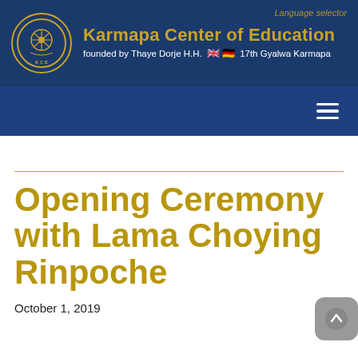Karmapa Center of Education — founded by Thaye Dorje H.H. the 17th Gyalwa Karmapa
Opening Ceremony with Lama Choying Rinpoche
October 1, 2019